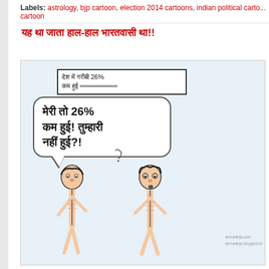Labels: astrology, bjp cartoon, election 2014 cartoons, indian political cartoon, cartoon
यह था जाता हाल-हाल भारतवासी था!!
[Figure (illustration): Indian political cartoon showing two thin men talking. A speech bubble in Hindi says 'मेरी तो 26% कम हुई! तुम्हारी नहीं हुई?!' A newspaper box at top reads 'देश में गरीबी 26% कम हुई'. Watermark: armulahja.com / armulahja.blogspot.in]